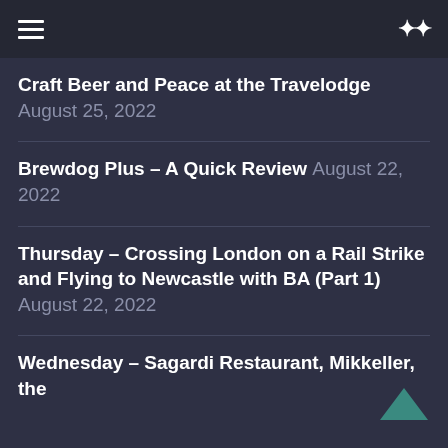≡  ⇌
Craft Beer and Peace at the Travelodge August 25, 2022
Brewdog Plus – A Quick Review August 22, 2022
Thursday – Crossing London on a Rail Strike and Flying to Newcastle with BA (Part 1) August 22, 2022
Wednesday – Sagardi Restaurant, Mikkeller, the ...